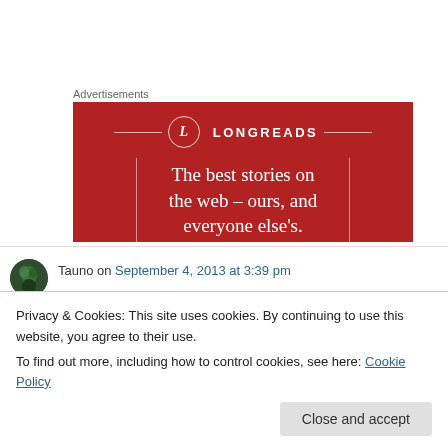[Figure (illustration): Longreads advertisement banner: red background with white circle logo containing 'L', 'LONGREADS' text, decorative bracket lines, and tagline 'The best stories on the web – ours, and everyone else's.']
Tauno on September 4, 2013 at 3:39 pm
Privacy & Cookies: This site uses cookies. By continuing to use this website, you agree to their use.
To find out more, including how to control cookies, see here: Cookie Policy
Tauno on September 5, 2013 at 2:05 pm